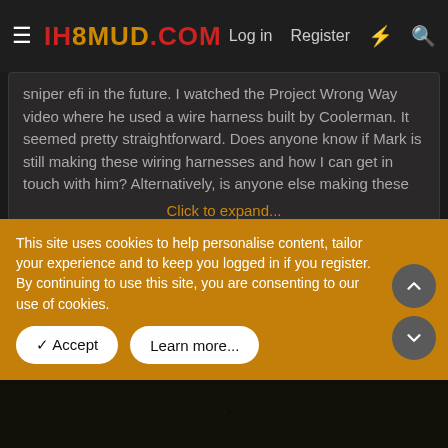IH8MUD.COM — Log in | Register
sniper efi in the future. I watched the Project Wrong Way video where he used a wire harness built by Coolerman. It seemed pretty straightforward. Does anyone know if Mark is still making these wiring harnesses and how I can get in touch with him? Alternatively, is anyone else making these Click to expand...
Here's Mark`s wiring page Cruiser Wiring He just got back from vacation.
This site uses cookies to help personalise content, tailor your experience and to keep you logged in if you register.
By continuing to use this site, you are consenting to our use of cookies.